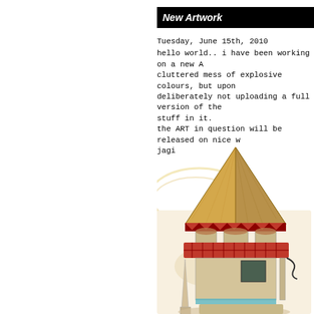New Artwork
Tuesday, June 15th, 2010
hello world.. i have been working on a new A cluttered mess of explosive colours, but upon deliberately not uploading a full version of the stuff in it.
the ART in question will be released on nice w jagi
[Figure (illustration): Illustrated fantasy castle/tower artwork with a large golden pyramid roof, red tiled lower roof with decorative zigzag trim, stone walls, a small obelisk tower in the background, decorative ironwork, and swirling white lines in the background.]